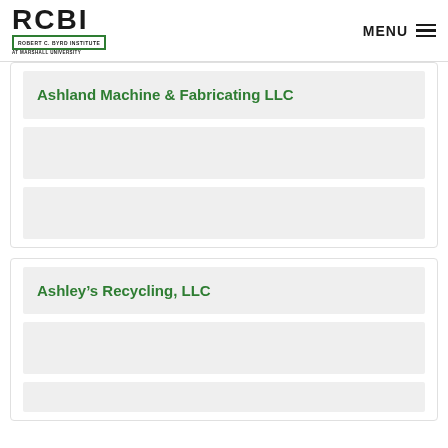RCBI - Robert C. Byrd Institute at Marshall University | MENU
Ashland Machine & Fabricating LLC
Ashley's Recycling, LLC